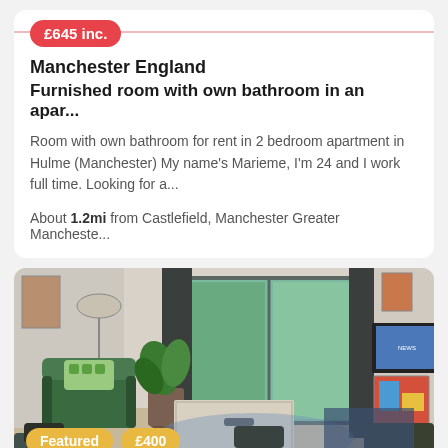£645 inc.
Manchester England
Furnished room with own bathroom in an apar...
Room with own bathroom for rent in 2 bedroom apartment in Hulme (Manchester) My name's Marieme, I'm 24 and I work full time. Looking for a...
About 1.2mi from Castlefield, Manchester Greater Mancheste...
[Figure (photo): Interior photo of a furnished living room with green armchair, glass coffee table, TV mounted on wall, large sliding glass door to balcony, plants, and framed artwork on walls.]
Featured
£400
Salford England